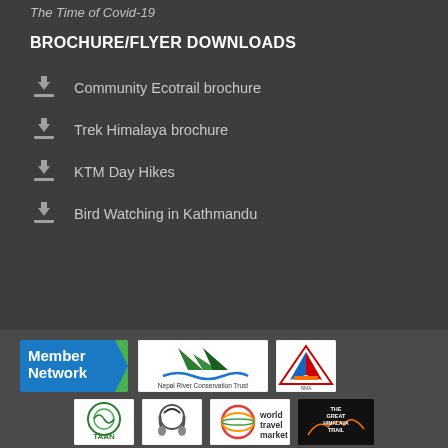The Time of Covid-19
BROCHURE/FLYER DOWNLOADS
Community Ecotrail brochure
Trek Himalaya brochure
KTM Day Hikes
Bird Watching in Kathmandu
[Figure (logo): Member Network logo badge (blue/green)]
[Figure (logo): Nepal River Conservation Trust logo]
[Figure (logo): Triangle logo with Nepal flag colors]
[Figure (logo): TAAN logo]
[Figure (logo): Headphones/bird logo]
[Figure (logo): World Travel Market logo]
[Figure (logo): The Great Himalaya Trail logo]